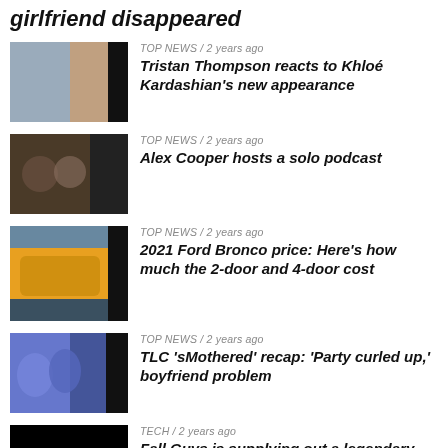girlfriend disappeared
TOP NEWS / 2 years ago | Tristan Thompson reacts to Khloé Kardashian's new appearance
TOP NEWS / 2 years ago | Alex Cooper hosts a solo podcast
TOP NEWS / 2 years ago | 2021 Ford Bronco price: Here's how much the 2-door and 4-door cost
TOP NEWS / 2 years ago | TLC 'sMothered' recap: 'Party curled up,' boyfriend problem
TECH / 2 years ago | Fall Guys is supplying out a legendary costume and Kudos as an apology present
TOP NEWS / 2 years ago | Chiara de Blasio was 'very cold' during the